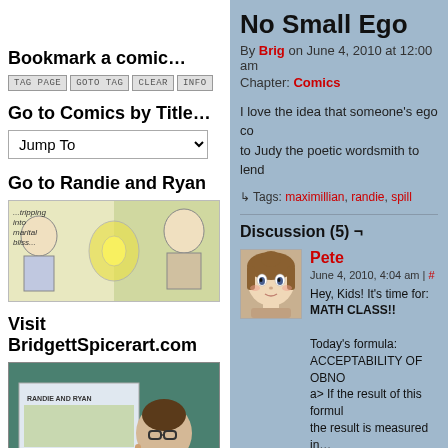« First
Bookmark a comic…
TAG PAGE | GOTO TAG | CLEAR | INFO
Go to Comics by Title…
Jump To
Go to Randie and Ryan
[Figure (illustration): Comic strip banner showing characters with text '...tripping into marital bliss...']
Visit BridgettSpicerart.com
[Figure (photo): Photo of a woman with glasses holding a Randie and Ryan comic display at a convention]
No Small Ego
By Brig on June 4, 2010 at 12:00 am
Chapter: Comics
I love the idea that someone's ego co… to Judy the poetic wordsmith to lend…
↳ Tags: maximillian, randie, spill
Discussion (5) ¬
Pete
June 4, 2010, 4:04 am | #
Hey, Kids! It's time for: MATH CLASS!!

Today's formula: ACCEPTABILITY OF OBNO… a> If the result of this formul… the result is measured in…